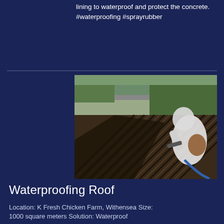lining to waterproof and protect the concrete. #waterproofing #sprayrubber
[Figure (photo): Worker in white protective suit spraying waterproof rubber coating on a corrugated metal roof of a farm building, with green trees in background]
Waterproofing Roof
Location: K Fresh Chicken Farm, Withensea Size: 1000 square meters Solution: Waterproof